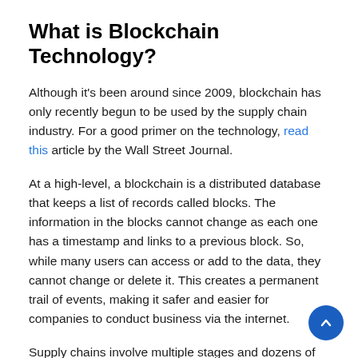What is Blockchain Technology?
Although it's been around since 2009, blockchain has only recently begun to be used by the supply chain industry. For a good primer on the technology, read this article by the Wall Street Journal.
At a high-level, a blockchain is a distributed database that keeps a list of records called blocks. The information in the blocks cannot change as each one has a timestamp and links to a previous block. So, while many users can access or add to the data, they cannot change or delete it. This creates a permanent trail of events, making it safer and easier for companies to conduct business via the internet.
Supply chains involve multiple stages and dozens of geographical locations, which makes it difficult to track events and incidents. Blockchain technology is one way for logistics providers to ensure that their data remains